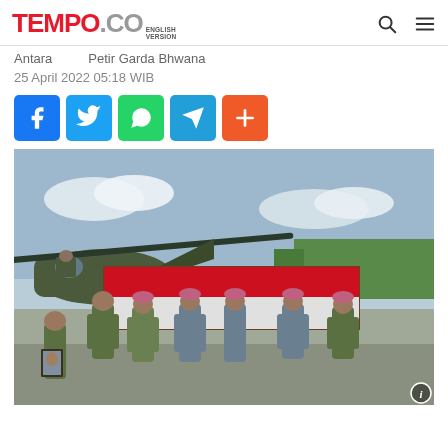TEMPO.CO ENGLISH VERSION
Antara   Petir Garda Bhwana
25 April 2022 05:18 WIB
[Figure (other): Social media share buttons: Facebook, Twitter, WhatsApp, Telegram, More]
[Figure (photo): Indonesian military personnel in camouflage uniforms and some in blue-grey uniforms with pink berets carrying a wooden coffin draped with a red and white Indonesian flag, near a military helicopter, with one soldier holding a framed portrait photo.]